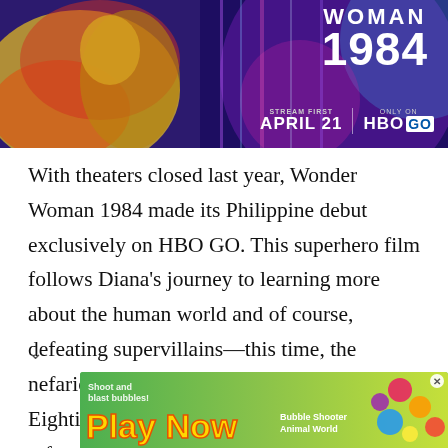[Figure (illustration): Wonder Woman 1984 promotional banner showing Wonder Woman in golden armor on the left with vibrant colorful background. Text reads 'WOMAN 1984', 'STREAM FIRST APRIL 21' and 'ONLY ON HBO GO' on the right side.]
With theaters closed last year, Wonder Woman 1984 made its Philippine debut exclusively on HBO GO. This superhero film follows Diana's journey to learning more about the human world and of course, defeating supervillains—this time, the nefarious Cheetah and Maxwell Lord. Eighties babies will enjoy all the throwbacks referencing the colorful decade. Stream now.
[Figure (illustration): Advertisement banner at the bottom: green bubble-shooter game ad with text 'Shoot and blast bubbles! Play Now' and 'Bubble Shooter Animal World' on the right with cartoon animal characters.]